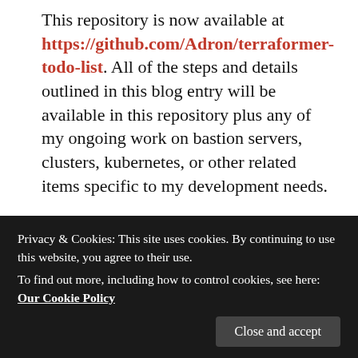This repository is now available at https://github.com/Adron/terraformer-todo-list. All of the steps and details outlined in this blog entry will be available in this repository plus any of my ongoing work on bastion servers, clusters, kubernetes, or other related items specific to my development needs.
With the repository cloned locally via git clone git@github.com:Adron/terraformer-todo-list.git there needs to be a main.tf file created. Once created I've added the azurerm provider block provider "azurerm" { version = "=1.27.0" } into
Privacy & Cookies: This site uses cookies. By continuing to use this website, you agree to their use. To find out more, including how to control cookies, see here: Our Cookie Policy